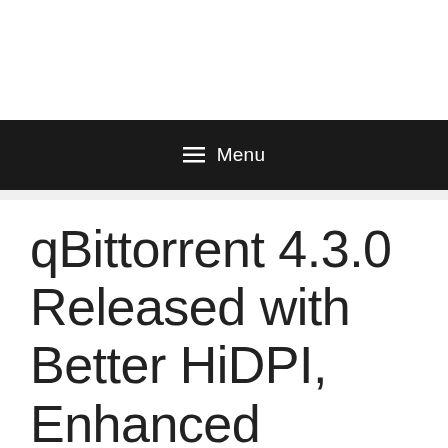Menu
qBittorrent 4.3.0 Released with Better HiDPI, Enhanced Theming Support
October 24, 2020 by jerry23